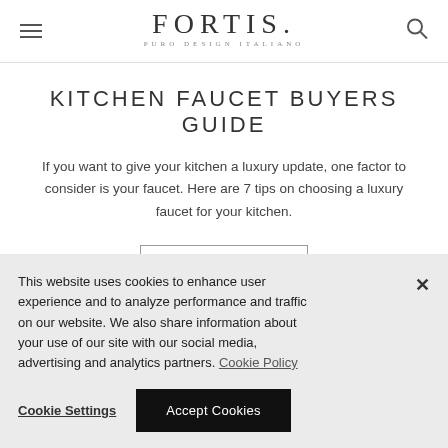FORTIS. PURO DESIGN ITALIANO
KITCHEN FAUCET BUYERS GUIDE
If you want to give your kitchen a luxury update, one factor to consider is your faucet. Here are 7 tips on choosing a luxury faucet for your kitchen.
READ MORE
This website uses cookies to enhance user experience and to analyze performance and traffic on our website. We also share information about your use of our site with our social media, advertising and analytics partners. Cookie Policy
Cookie Settings
Accept Cookies